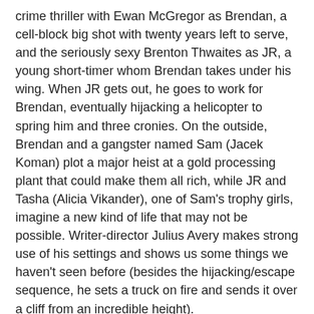crime thriller with Ewan McGregor as Brendan, a cell-block big shot with twenty years left to serve, and the seriously sexy Brenton Thwaites as JR, a young short-timer whom Brendan takes under his wing. When JR gets out, he goes to work for Brendan, eventually hijacking a helicopter to spring him and three cronies. On the outside, Brendan and a gangster named Sam (Jacek Koman) plot a major heist at a gold processing plant that could make them all rich, while JR and Tasha (Alicia Vikander), one of Sam's trophy girls, imagine a new kind of life that may not be possible. Writer-director Julius Avery makes strong use of his settings and shows us some things we haven't seen before (besides the hijacking/escape sequence, he sets a truck on fire and sends it over a cliff from an incredible height).
Another recommendation for the Soviet Union hockey documentary "Red Army," by Gabe Polsky, who a couple years ago directed (with brother Alan) the terrific Emile Hirsch-Stephen Dorff flick "The Motel Life." Polsky tells the story of the juggernaut Red Army team through its captain and star defenseman, Vyacheslav ("Slava") Fetisov, who went on to lead the Detroit Red Wings to a mini-dynasty in